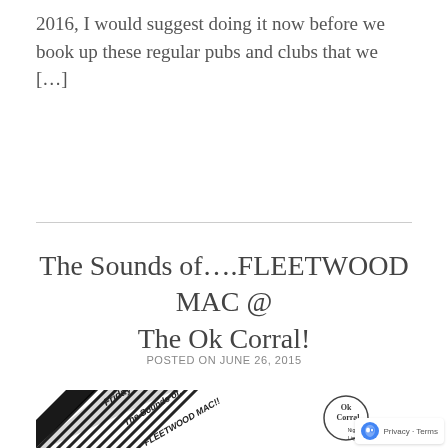2016, I would suggest doing it now before we book up these regular pubs and clubs that we […]
The Sounds of….FLEETWOOD MAC @ The Ok Corral!
POSTED ON JUNE 26, 2015
[Figure (illustration): Promotional poster image in black and white with diagonal stripes and bold italic text reading 'Friday June 26th The Sounds of… FLEETWOOD MAC!!' with Ok Corral Night Club logo on the right side]